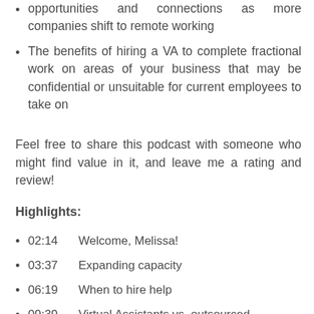opportunities and connections as more companies shift to remote working
The benefits of hiring a VA to complete fractional work on areas of your business that may be confidential or unsuitable for current employees to take on
Feel free to share this podcast with someone who might find value in it, and leave me a rating and review!
Highlights:
02:14    Welcome, Melissa!
03:37    Expanding capacity
06:19    When to hire help
09:39    Virtual Assistants vs. outsourced